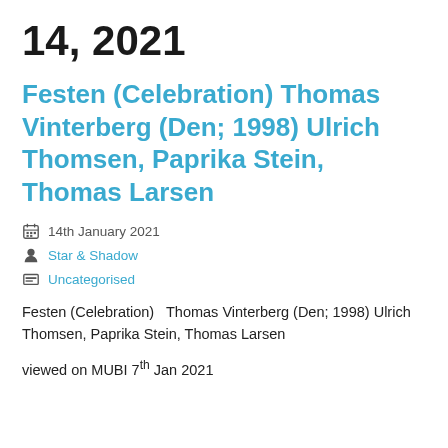14, 2021
Festen (Celebration) Thomas Vinterberg (Den; 1998) Ulrich Thomsen, Paprika Stein, Thomas Larsen
14th January 2021
Star & Shadow
Uncategorised
Festen (Celebration)   Thomas Vinterberg (Den; 1998) Ulrich Thomsen, Paprika Stein, Thomas Larsen
viewed on MUBI 7th Jan 2021